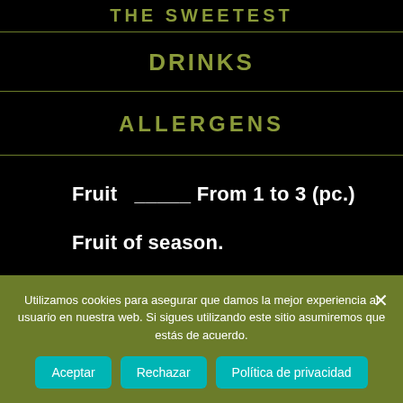THE SWEETEST
DRINKS
ALLERGENS
Fruit  _____ From 1 to 3 (pc.)
Fruit of season.
Utilizamos cookies para asegurar que damos la mejor experiencia al usuario en nuestra web. Si sigues utilizando este sitio asumiremos que estás de acuerdo.
Aceptar
Rechazar
Política de privacidad